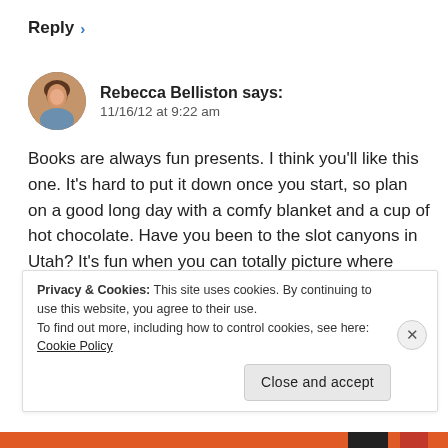Reply >
Rebecca Belliston says:
11/16/12 at 9:22 am
Books are always fun presents. I think you'll like this one. It's hard to put it down once you start, so plan on a good long day with a comfy blanket and a cup of hot chocolate. Have you been to the slot canyons in Utah? It's fun when you can totally picture where they are.
Privacy & Cookies: This site uses cookies. By continuing to use this website, you agree to their use.
To find out more, including how to control cookies, see here: Cookie Policy
Close and accept